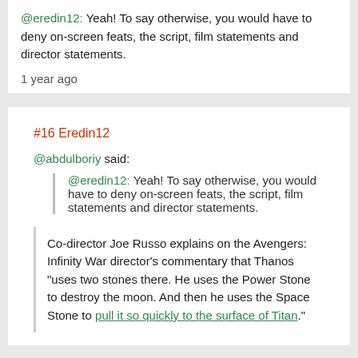@eredin12: Yeah! To say otherwise, you would have to deny on-screen feats, the script, film statements and director statements.
1 year ago
#16 Eredin12
@abdulboriy said:
@eredin12: Yeah! To say otherwise, you would have to deny on-screen feats, the script, film statements and director statements.
Co-director Joe Russo explains on the Avengers: Infinity War director's commentary that Thanos "uses two stones there. He uses the Power Stone to destroy the moon. And then he uses the Space Stone to pull it so quickly to the surface of Titan."